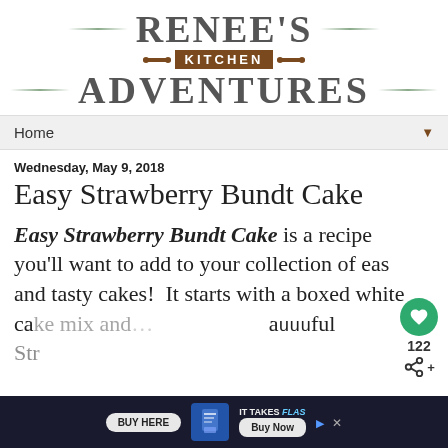[Figure (logo): Renee's Kitchen Adventures logo with decorative lines, rolling pin icons, and brown kitchen badge]
Home ▼
Wednesday, May 9, 2018
Easy Strawberry Bundt Cake
Easy Strawberry Bundt Cake is a recipe you'll want to add to your collection of easy and tasty cakes!  It starts with a boxed white ca... beautiful Str...